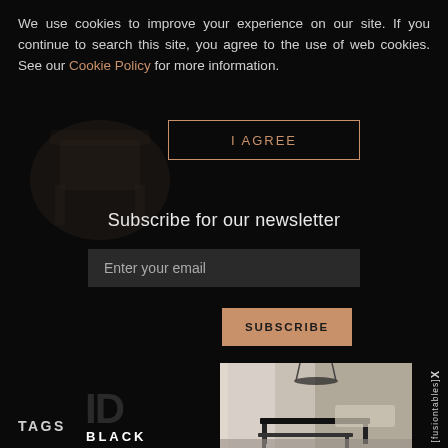We use cookies to improve your experience on our site. If you continue to search this site, you agree to the use of web cookies. See our Cookie Policy for more information.
I AGREE
Subscribe for our newsletter
Enter your email
SUBSCRIBE
[Figure (logo): BLACK logo with stylized ID icon above the text]
[Figure (photo): Interior design photo showing a modern living room with a pool/billiard table and bench seating]
[fusiontables]X
TAGS